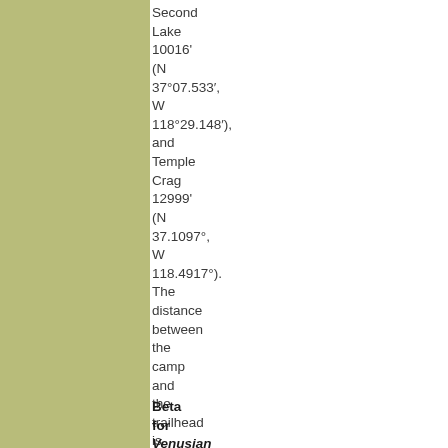Second Lake 10016' (N 37°07.533′, W 118°29.148′), and Temple Crag 12999' (N 37.1097°, W 118.4917°). The distance between the camp and the trailhead is 4.72 miles.
Beta for Venusian